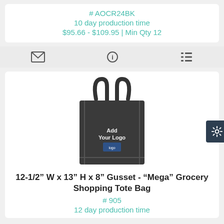# AOCR24BK
10 day production time
$95.66 - $109.95 | Min Qty 12
[Figure (photo): Black grocery shopping tote bag with 'Add Your Logo' text printed on the front]
12-1/2” W x 13” H x 8” Gusset - “Mega” Grocery Shopping Tote Bag
# 905
12 day production time